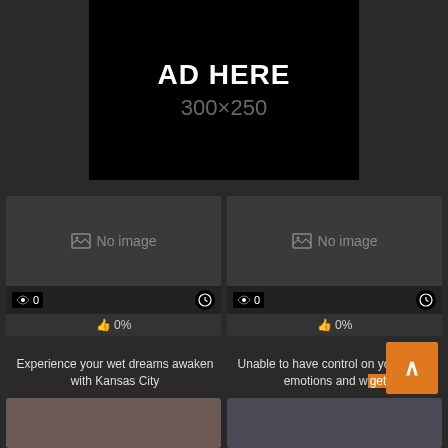[Figure (other): Advertisement placeholder banner showing 'AD HERE' in white bold text and '300x250' in gray text on black background]
[Figure (other): Video card with 'No image' placeholder, 0 views, clock icon, 0% likes]
Experience your wet dreams awaken with Kansas City
[Figure (other): Video card with 'No image' placeholder, 0 views, clock icon, 0% likes]
Unable to have control on your horny emotions and want to get
[Figure (photo): Bottom left thumbnail - woman]
[Figure (photo): Bottom right thumbnail - dark scene]